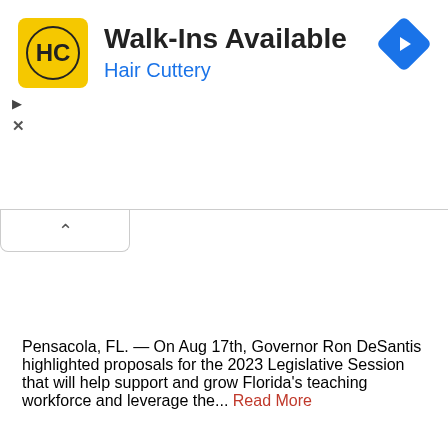[Figure (logo): Hair Cuttery advertisement banner with HC logo on yellow background, Walk-Ins Available headline, Hair Cuttery subtitle in blue, and a blue navigation diamond icon on the right]
Pensacola, FL. — On Aug 17th, Governor Ron DeSantis highlighted proposals for the 2023 Legislative Session that will help support and grow Florida's teaching workforce and leverage the... Read More